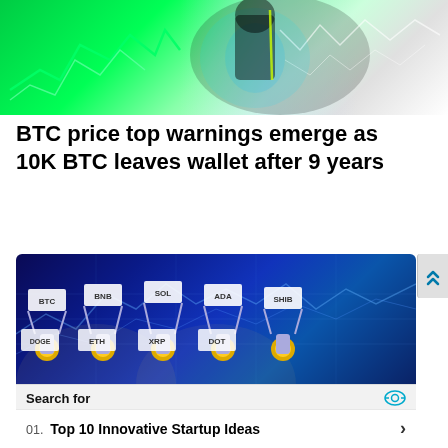[Figure (illustration): Green glowing cryptocurrency/stock chart illustration with white chart lines on green background, figure of person visible]
BTC price top warnings emerge as 10K BTC leaves wallet after 9 years
[Figure (illustration): Blue background illustration showing cartoon cryptocurrency robot figures holding signs with crypto ticker symbols: BTC, BNB, SOL, ADA, SHIB, DOGE, ETH, XRP, DOT. Below is a search ad box from Yahoo Search showing 'Search for', '01. Top 10 Innovative Startup Ideas', '02. Low-Investment Business Ideas', 'Yahoo! Search | Sponsored']